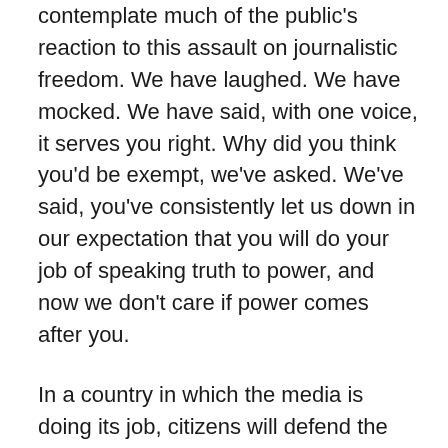contemplate much of the public's reaction to this assault on journalistic freedom. We have laughed. We have mocked. We have said, with one voice, it serves you right. Why did you think you'd be exempt, we've asked. We've said, you've consistently let us down in our expectation that you will do your job of speaking truth to power, and now we don't care if power comes after you.
In a country in which the media is doing its job, citizens will defend the fourth estate. In Australia, citizens do not generally tend to view the media as our allies. That our first reaction is to guffaw at the AFP raid on a News Corp journalist says everything about the parlous state of relations between much of our media and its consumers. There are a very few notable exceptions. Not enough, sadly, to rescue the reputation of the profession as a whole and ensure our support in its hour of need.